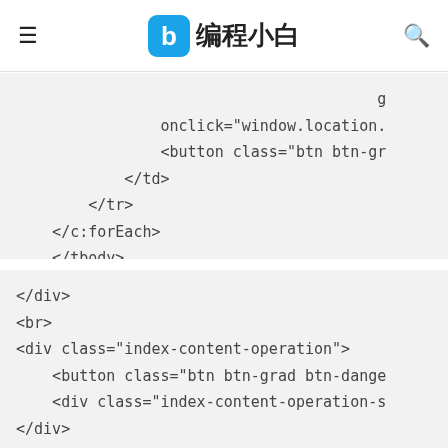编程小白
onclick="window.location.
<button class="btn btn-gr
</td>
</tr>
</c:forEach>
</tbody>
</table>
</div>
<br>
<div class="index-content-operation">
    <button class="btn btn-grad btn-dange
    <div class="index-content-operation-s
</div>
<br>
<table class="table table-striped table-h
    <thead>